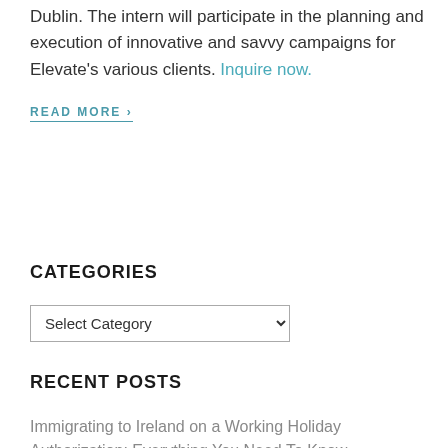Dublin. The intern will participate in the planning and execution of innovative and savvy campaigns for Elevate's various clients. Inquire now.
READ MORE ›
CATEGORIES
Select Category
RECENT POSTS
Immigrating to Ireland on a Working Holiday Authorization: Everything You Need To Know